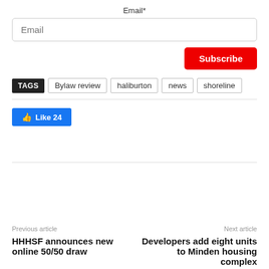Email*
Email
Subscribe
TAGS  Bylaw review  haliburton  news  shoreline
Like 24
Previous article
HHHSF announces new online 50/50 draw
Next article
Developers add eight units to Minden housing complex